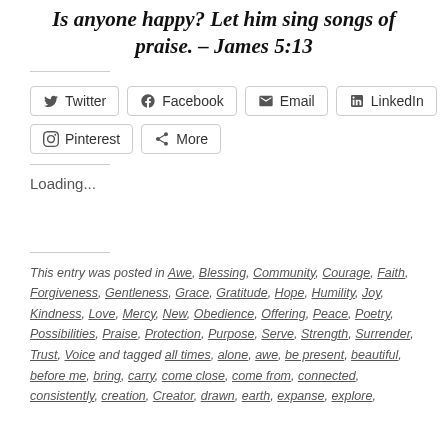Is anyone happy? Let him sing songs of praise. – James 5:13
[Figure (other): Social share buttons: Twitter, Facebook, Email, LinkedIn, Pinterest, More]
Loading...
This entry was posted in Awe, Blessing, Community, Courage, Faith, Forgiveness, Gentleness, Grace, Gratitude, Hope, Humility, Joy, Kindness, Love, Mercy, New, Obedience, Offering, Peace, Poetry, Possibilities, Praise, Protection, Purpose, Serve, Strength, Surrender, Trust, Voice and tagged all times, alone, awe, be present, beautiful, before me, bring, carry, come close, come from, connected, consistently, creation, Creator, drawn, earth, expanse, explore,